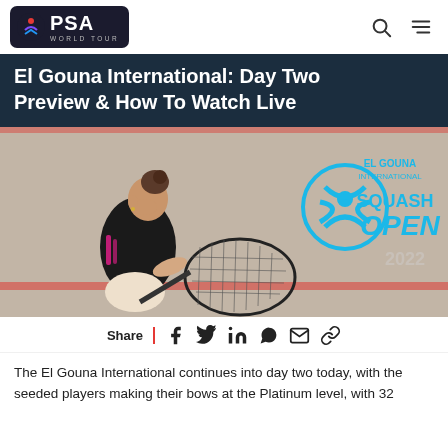PSA World Tour
El Gouna International: Day Two Preview & How To Watch Live
[Figure (photo): Female squash player leaning forward with racket, beside El Gouna International Squash Open 2022 logo on court wall]
Share
The El Gouna International continues into day two today, with the seeded players making their bows at the Platinum level, with 32